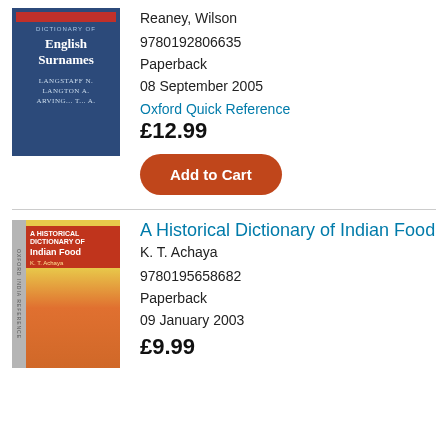[Figure (illustration): Book cover of Dictionary of English Surnames, dark blue background with red top bar]
Reaney, Wilson
9780192806635
Paperback
08 September 2005
Oxford Quick Reference
£12.99
Add to Cart
[Figure (illustration): Book cover of A Historical Dictionary of Indian Food, yellow cover with red section and Indian illustration]
A Historical Dictionary of Indian Food
K. T. Achaya
9780195658682
Paperback
09 January 2003
£9.99